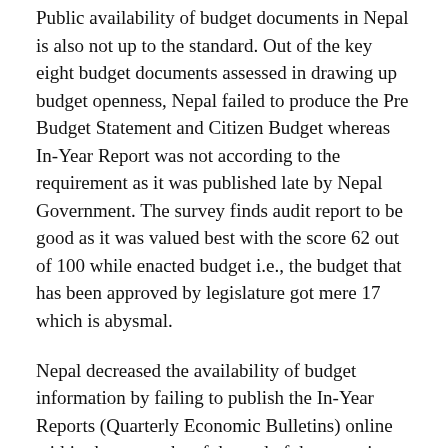Public availability of budget documents in Nepal is also not up to the standard. Out of the key eight budget documents assessed in drawing up budget openness, Nepal failed to produce the Pre Budget Statement and Citizen Budget whereas In-Year Report was not according to the requirement as it was published late by Nepal Government. The survey finds audit report to be good as it was valued best with the score 62 out of 100 while enacted budget i.e., the budget that has been approved by legislature got mere 17 which is abysmal.
Nepal decreased the availability of budget information by failing to publish the In-Year Reports (Quarterly Economic Bulletins) online within three months of the end of the reporting period and failing to publish part of the Year-End Report (Annual Progress Assessment Report-2017-18) that in turn affect the OBS index.
Transparency alone is insufficient in improving governance. Inclusive public participation is crucial for